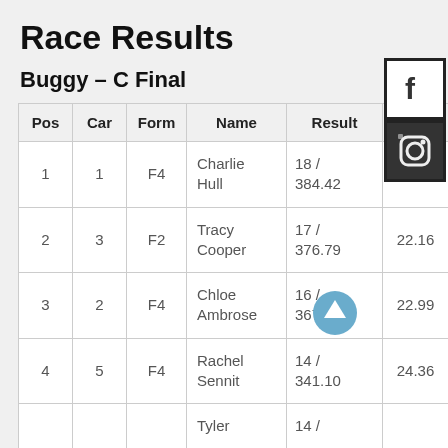Race Results
Buggy – C Final
| Pos | Car | Form | Name | Result |  |
| --- | --- | --- | --- | --- | --- |
| 1 | 1 | F4 | Charlie Hull | 18 / 384.42 | 21.35 |
| 2 | 3 | F2 | Tracy Cooper | 17 / 376.79 | 22.16 |
| 3 | 2 | F4 | Chloe Ambrose | 16 / 367.87 | 22.99 |
| 4 | 5 | F4 | Rachel Sennit | 14 / 341.10 | 24.36 |
|  |  |  | Tyler | 14 / |  |